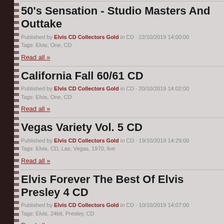50's Sensation - Studio Masters And Outtakes
Published by Elvis CD Collectors Gold in CD · 22/10/2019 14:00:00
Tags: Elvis, One, CD
Read all »
California Fall 60/61 CD
Published by Elvis CD Collectors Gold in CD · 20/10/2019 14:02:00
Tags: Elvis, One, CD
Read all »
Vegas Variety Vol. 5 CD
Published by Elvis CD Collectors Gold in CD · 19/10/2019 14:29:00
Tags: Elvis, CD, Las, Vegas, 1970, live
Read all »
Elvis Forever The Best Of Elvis Presley 4 CD
Published by Elvis CD Collectors Gold in CD · 10/10/2019 14:07:00
Tags: Elvis, 24bit, Presley, CD
Read all »
Touring In The 70´s Vol. 2 Rare CD Set